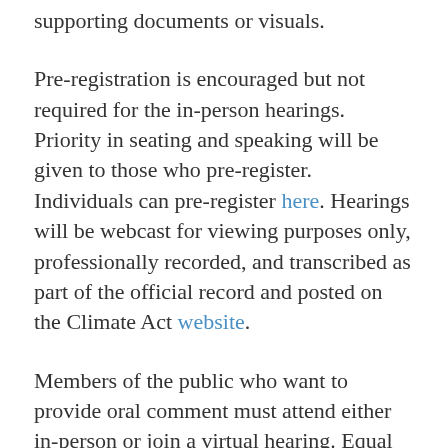supporting documents or visuals.
Pre-registration is encouraged but not required for the in-person hearings. Priority in seating and speaking will be given to those who pre-register. Individuals can pre-register here. Hearings will be webcast for viewing purposes only, professionally recorded, and transcribed as part of the official record and posted on the Climate Act website.
Members of the public who want to provide oral comment must attend either in-person or join a virtual hearing. Equal weight will be given to oral and written statements. American sign language and language interpretive services shall be made available upon written request at no charge. Any additional information, including instructions for joining each event remotely to view the proceedings, will be made